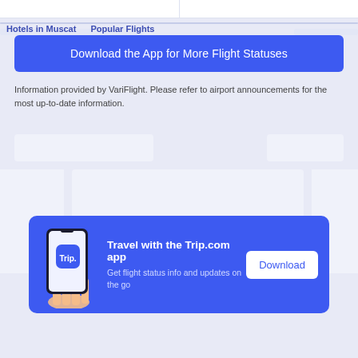Hotels in Muscat   Popular Flights
Download the App for More Flight Statuses
Information provided by VariFlight. Please refer to airport announcements for the most up-to-date information.
[Figure (other): Placeholder/skeleton advertisement blocks]
[Figure (other): Trip.com app promotional banner with phone illustration. Title: Travel with the Trip.com app. Subtitle: Get flight status info and updates on the go. Download button on the right.]